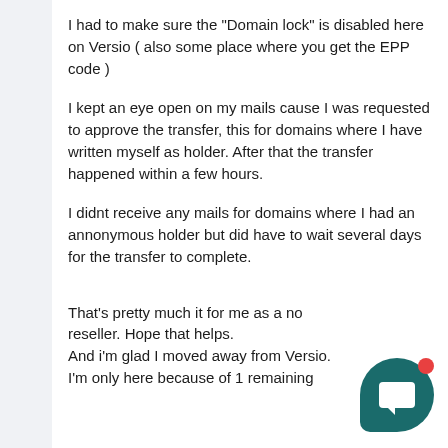I had to make sure the "Domain lock" is disabled here on Versio ( also some place where you get the EPP code )
I kept an eye open on my mails cause I was requested to approve the transfer, this for domains where I have written myself as holder. After that the transfer happened within a few hours.
I didnt receive any mails for domains where I had an annonymous holder but did have to wait several days for the transfer to complete.
That's pretty much it for me as a no reseller. Hope that helps.
And i'm glad I moved away from Versio.
I'm only here because of 1 remaining